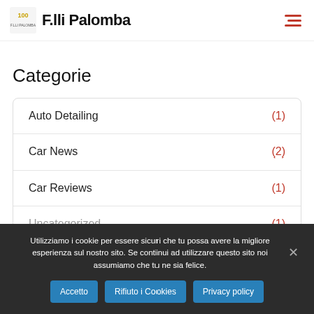F.lli Palomba
Categorie
Auto Detailing (1)
Car News (2)
Car Reviews (1)
(partially visible item) (1)
Utilizziamo i cookie per essere sicuri che tu possa avere la migliore esperienza sul nostro sito. Se continui ad utilizzare questo sito noi assumiamo che tu ne sia felice.